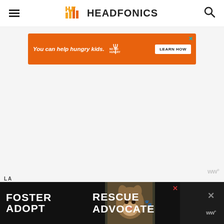HEADFONICS
[Figure (screenshot): Orange advertisement banner: 'You can help hungry kids. NO KID HUNGRY LEARN HOW' with close button]
[Figure (screenshot): Watermark logo 'ww' with superscript]
[Figure (screenshot): Bottom advertisement banner: 'FOSTER ADOPT RESCUE ADVOCATE' with dog photo]
LA